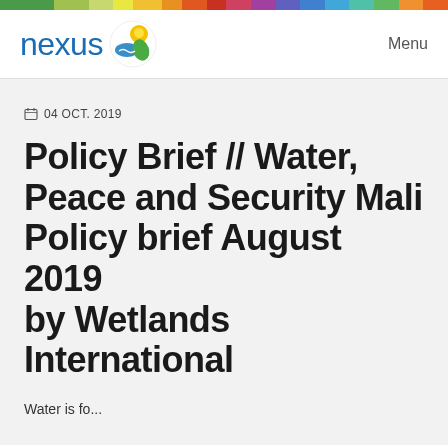[Figure (logo): Nexus website logo with circular icon showing sun, water and leaves, plus the text 'nexus' in blue, and 'Menu' navigation link on the right]
04 OCT. 2019
Policy Brief // Water, Peace and Security Mali Policy brief August 2019 by Wetlands International
Water is fo...